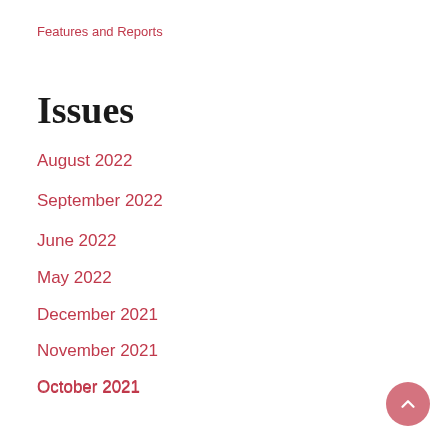Features and Reports
Issues
August 2022
September 2022
June 2022
May 2022
December 2021
November 2021
October 2021
September 2021
August 2021
July 2021